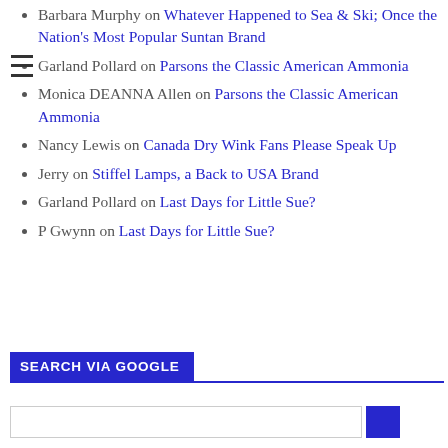Barbara Murphy on Whatever Happened to Sea & Ski; Once the Nation's Most Popular Suntan Brand
Garland Pollard on Parsons the Classic American Ammonia
Monica DEANNA Allen on Parsons the Classic American Ammonia
Nancy Lewis on Canada Dry Wink Fans Please Speak Up
Jerry on Stiffel Lamps, a Back to USA Brand
Garland Pollard on Last Days for Little Sue?
P Gwynn on Last Days for Little Sue?
SEARCH VIA GOOGLE